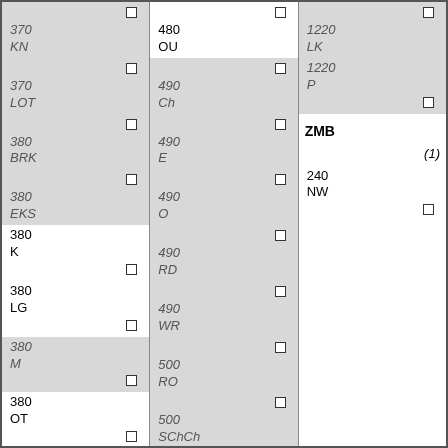| 370 KN | ☐ | 480 OU | ☐ | 1220 LK | ☐ |
| 370 LOT | ☐ | 490 Ch | ☐ | 1220 P | ☐ |
| 380 BRK | ☐ | 490 E | ☐ | ZMB |  |
| 380 EKS | ☐ | 490 O | ☐ | (1) |  |
| 380 K | ☐ | 490 RD | ☐ | 240 NW | ☐ |
| 380 LG | ☐ | 490 WR | ☐ |  |  |
| 380 M | ☐ | 500 RO | ☐ |  |  |
| 380 OT | ☐ | 500 SChCh | ☐ |  |  |